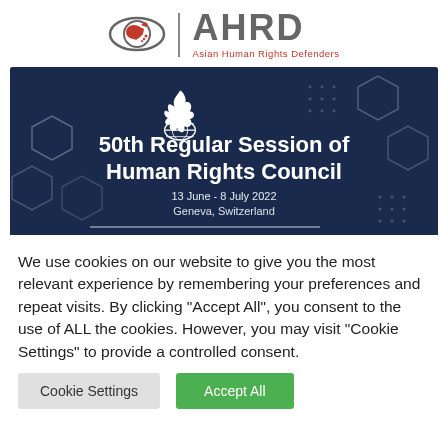[Figure (logo): AHRD - Asian Human Rights Defenders logo with eye icon containing Asia map in red, vertical divider, AHRD text in gray with subtitle in red]
[Figure (photo): Banner image for 50th Regular Session of Human Rights Council, 13 June - 8 July 2022, Geneva, Switzerland. Dark navy blue overlay on aerial photo with hexagonal geometric shapes and UN flame emblem.]
We use cookies on our website to give you the most relevant experience by remembering your preferences and repeat visits. By clicking "Accept All", you consent to the use of ALL the cookies. However, you may visit "Cookie Settings" to provide a controlled consent.
Cookie Settings
Accept All